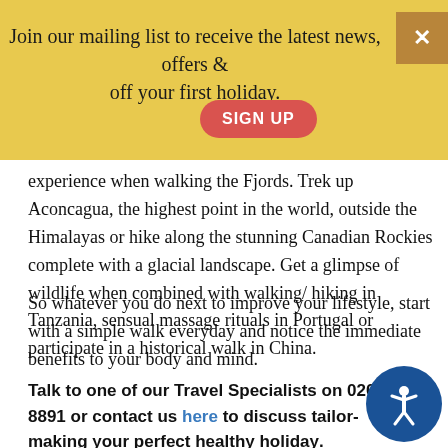Join our mailing list to receive the latest news, offers & off your first holiday.
experience when walking the Fjords. Trek up Aconcagua, the highest point in the world, outside the Himalayas or hike along the stunning Canadian Rockies complete with a glacial landscape. Get a glimpse of wildlife when combined with walking/ hiking in Tanzania, sensual massage rituals in Portugal or participate in a historical walk in China.
So whatever you do next to improve your lifestyle, start with a simple walk everyday and notice the immediate benefits to your body and mind.
Talk to one of our Travel Specialists on 0203 397 8891 or contact us here to discuss tailor-making your perfect healthy holiday.